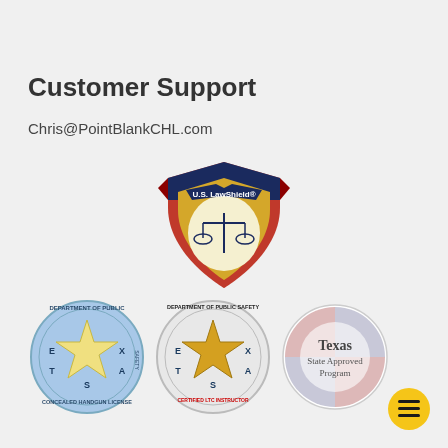Customer Support
Chris@PointBlankCHL.com
[Figure (logo): U.S. LawShield logo — a red and navy shield with a gold balance of justice scale and ribbon banner reading 'U.S. LawShield']
[Figure (logo): Texas Department of Public Safety Concealed Handgun License circular seal with Texas star and E-X-T-A-S letters]
[Figure (logo): Texas Department of Public Safety Certified LTC Instructor circular seal with gold Texas star]
[Figure (logo): Texas State Approved Program circular badge with lavender/pink quadrants]